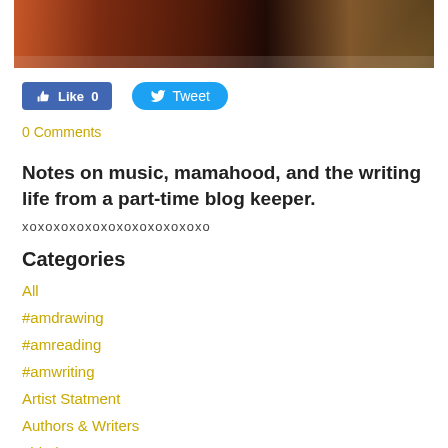[Figure (photo): Cropped photo showing warm-toned instrument or decorative item with dark reddish-brown tones]
Like 0   Tweet
0 Comments
Notes on music, mamahood, and the writing life from a part-time blog keeper.
xoxoxoxoxoxoxoxoxoxoxoxo
Categories
All
#amdrawing
#amreading
#amwriting
Artist Statment
Authors & Writers
#binders
@bobobo33sb